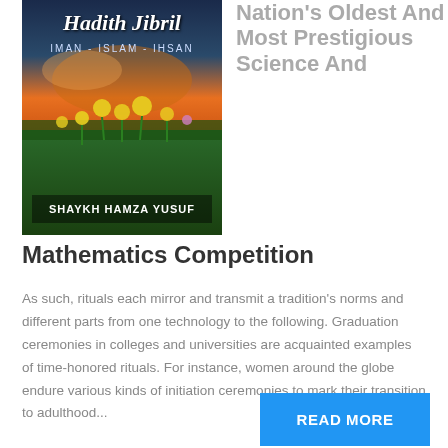[Figure (illustration): Book cover: 'Hadith Jibril - IMAN - ISLAM - IHSAN' by Shaykh Hamza Yusuf, with a background of a meadow with yellow flowers and a sunset sky]
Nation's Oldest And Most Prestigious Science And Mathematics Competition
As such, rituals each mirror and transmit a tradition's norms and different parts from one technology to the following. Graduation ceremonies in colleges and universities are acquainted examples of time-honored rituals. For instance, women around the globe endure various kinds of initiation ceremonies to mark their transition to adulthood...